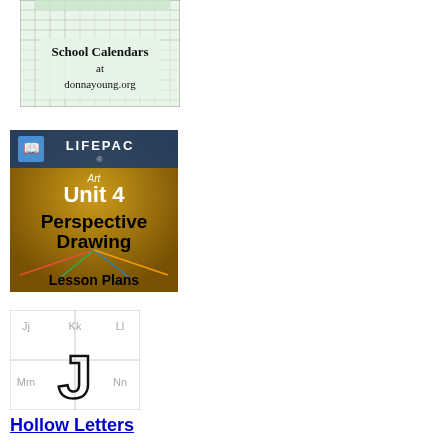[Figure (illustration): School Calendars at donnayoung.org - thumbnail image of a calendar spreadsheet with text overlay]
[Figure (illustration): LIFEPAC Art Unit 4 Perspective Drawing Lesson Plans - book cover thumbnail with art imagery]
[Figure (illustration): Hollow Letters worksheet thumbnail showing alphabet letters J, K, L, M, N in hollow/outline style]
Hollow Letters